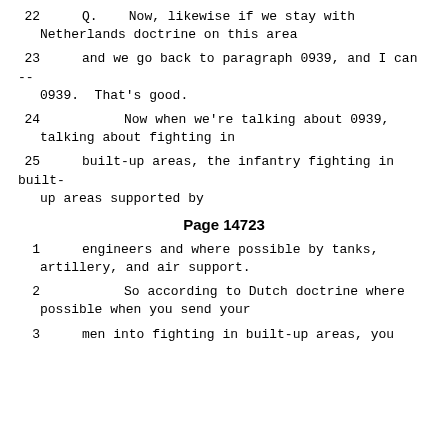22      Q.   Now, likewise if we stay with Netherlands doctrine on this area
23      and we go back to paragraph 0939, and I can -- 0939.  That's good.
24              Now when we're talking about 0939, talking about fighting in
25      built-up areas, the infantry fighting in built-up areas supported by
Page 14723
1      engineers and where possible by tanks, artillery, and air support.
2              So according to Dutch doctrine where possible when you send your
3      men into fighting in built-up areas, you